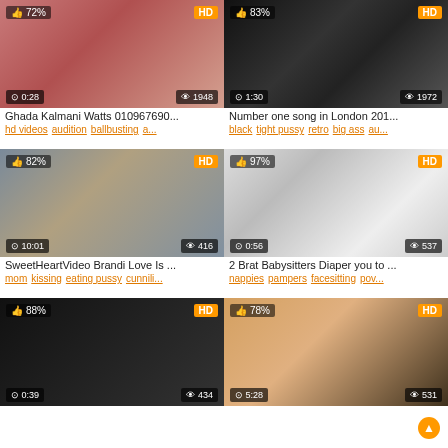[Figure (screenshot): Video thumbnail 1 - 72% rating, HD, 0:28 duration, 1948 views]
Ghada Kalmani Watts 010967690...
hd videos audition ballbusting a...
[Figure (screenshot): Video thumbnail 2 - 83% rating, HD, 1:30 duration, 1972 views]
Number one song in London 201...
black tight pussy retro big ass au...
[Figure (screenshot): Video thumbnail 3 - 82% rating, HD, 10:01 duration, 416 views]
SweetHeartVideo Brandi Love Is ...
mom kissing eating pussy cunnili...
[Figure (screenshot): Video thumbnail 4 - 97% rating, HD, 0:56 duration, 537 views]
2 Brat Babysitters Diaper you to ...
nappies pampers facesitting pov...
[Figure (screenshot): Video thumbnail 5 - 88% rating, HD, 0:39 duration, 434 views]
[Figure (screenshot): Video thumbnail 6 - 78% rating, HD, 5:28 duration, 531 views]